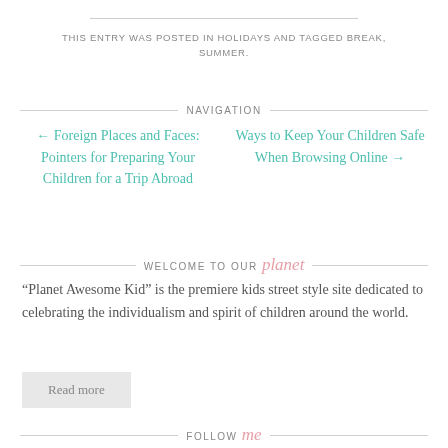THIS ENTRY WAS POSTED IN HOLIDAYS AND TAGGED BREAK, SUMMER.
NAVIGATION
← Foreign Places and Faces: Pointers for Preparing Your Children for a Trip Abroad
Ways to Keep Your Children Safe When Browsing Online →
WELCOME TO OUR planet
“Planet Awesome Kid” is the premiere kids street style site dedicated to celebrating the individualism and spirit of children around the world.
Read more
FOLLOW me